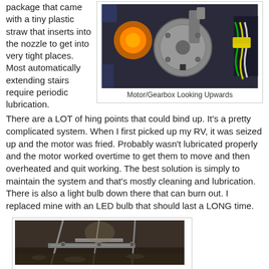package that came with a tiny plastic straw that inserts into the nozzle to get into very tight places. Most automatically extending stairs require periodic lubrication.
[Figure (photo): Close-up photo of a motor/gearbox mechanism with orange light, metal components, and colored wiring with a yellow label tag]
Motor/Gearbox Looking Upwards
There are a LOT of hing points that could bind up. It's a pretty complicated system. When I first picked up my RV, it was seized up and the motor was fried. Probably wasn't lubricated properly and the motor worked overtime to get them to move and then overheated and quit working. The best solution is simply to maintain the system and that's mostly cleaning and lubrication. There is also a light bulb down there that can burn out. I replaced mine with an LED bulb that should last a LONG time.
[Figure (photo): Photo of mechanical stairs or linkage components viewed from below, showing metal frame structure]